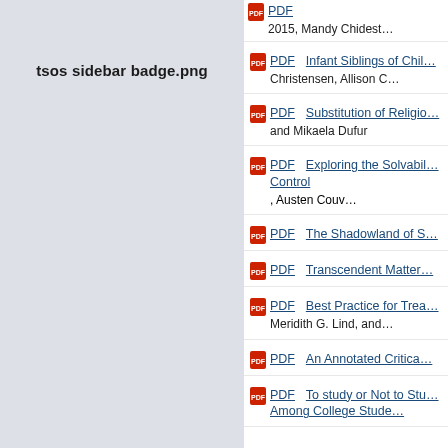[Figure (other): Sidebar badge placeholder labeled 'tsos sidebar badge.png' on a light gray background]
PDF — Family Educational..., 2015, Mandy Chidest...
PDF — Infant Siblings of Chil... Christensen, Allison C...
PDF — Substitution of Religio... and Mikaela Dufur
PDF — Exploring the Solvabil... Control, Austen Couv...
PDF — The Shadowland of S...
PDF — Transcendent Matter...
PDF — Best Practice for Trea... Meridith G. Lind, and...
PDF — An Annotated Critica...
PDF — To study or Not to Stu... Among College Stude...